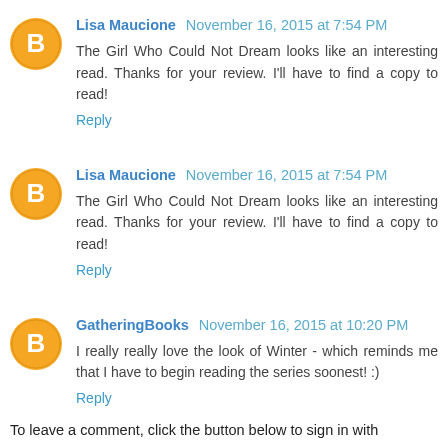Lisa Maucione November 16, 2015 at 7:54 PM
The Girl Who Could Not Dream looks like an interesting read. Thanks for your review. I'll have to find a copy to read!
Reply
Lisa Maucione November 16, 2015 at 7:54 PM
The Girl Who Could Not Dream looks like an interesting read. Thanks for your review. I'll have to find a copy to read!
Reply
GatheringBooks November 16, 2015 at 10:20 PM
I really really love the look of Winter - which reminds me that I have to begin reading the series soonest! :)
Reply
To leave a comment, click the button below to sign in with